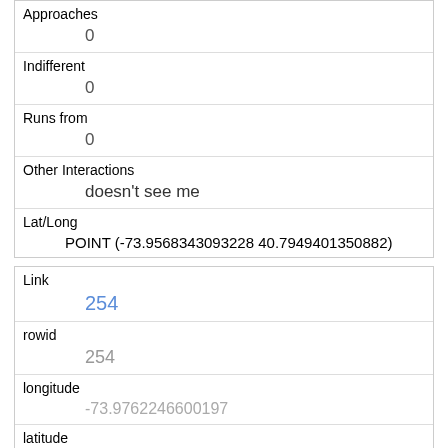| Approaches | 0 |
| Indifferent | 0 |
| Runs from | 0 |
| Other Interactions | doesn't see me |
| Lat/Long | POINT (-73.9568343093228 40.7949401350882) |
| Link | 254 |
| rowid | 254 |
| longitude | -73.9762246600197 |
| latitude | 40.775164077652 |
| Unique Squirrel ID | 10A-AM-1006-03 |